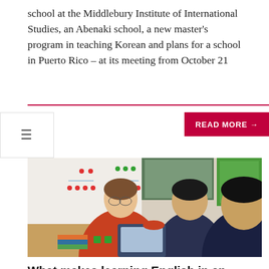school at the Middlebury Institute of International Studies, an Abenaki school, a new master's program in teaching Korean and plans for a school in Puerto Rico – at its meeting from October 21
READ MORE →
[Figure (photo): A smiling female teacher in a red sweater working with two young boys at a classroom desk, both boys looking at a tablet computer. Colorful classroom materials and a whiteboard with dots and numbers visible in the background.]
What makes learning English in an international school different